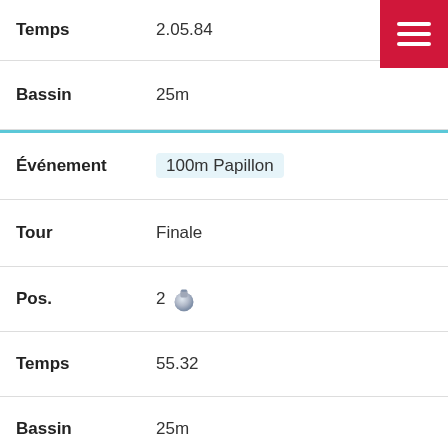| Label | Value |
| --- | --- |
| Temps | 2.05.84 |
| Bassin | 25m |
| Événement | 100m Papillon |
| Tour | Finale |
| Pos. | 2 🥈 |
| Temps | 55.32 |
| Bassin | 25m |
| Événement | 100m Papillon |
| Tour | Éliminatoire |